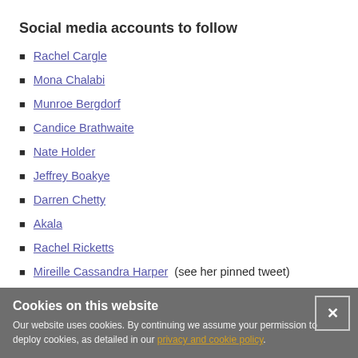Social media accounts to follow
Rachel Cargle
Mona Chalabi
Munroe Bergdorf
Candice Brathwaite
Nate Holder
Jeffrey Boakye
Darren Chetty
Akala
Rachel Ricketts
Mireille Cassandra Harper (see her pinned tweet)
Ibram X. Kendi
Gary and Tinuke
Cookies on this website
Our website uses cookies. By continuing we assume your permission to deploy cookies, as detailed in our privacy and cookie policy.